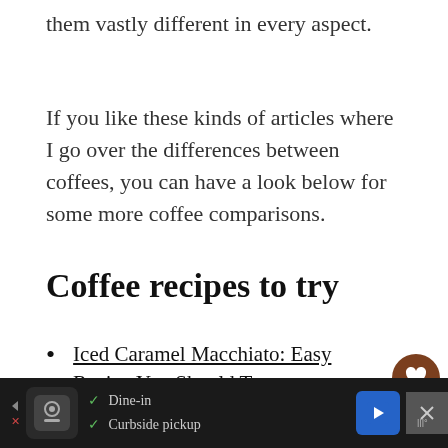them vastly different in every aspect.
If you like these kinds of articles where I go over the differences between coffees, you can have a look below for some more coffee comparisons.
Coffee recipes to try
Iced Caramel Macchiato: Easy Recipe You Should Try
Piccolo Latte: What Is It & How to Make This Piccolo Coffee?
[Figure (other): Ad banner at bottom of page showing restaurant with Dine-in and Curbside pickup options, navigation button, and close button]